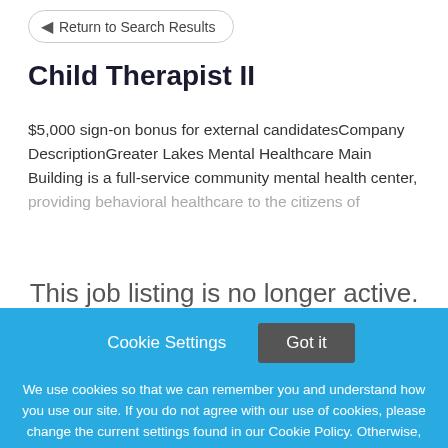← Return to Search Results
Child Therapist II
$5,000 sign-on bonus for external candidatesCompany DescriptionGreater Lakes Mental Healthcare Main Building is a full-service community mental health center, providing behavioral healthcare to the citizens of
This job listing is no longer active.
Cookie Settings
Got it
We use cookies so that we can remember you and understand how you use our site. If you do not agree with our use of cookies, please change the current settings found in our Cookie Policy. Otherwise, you agree to the use of the cookies as they are currently set.